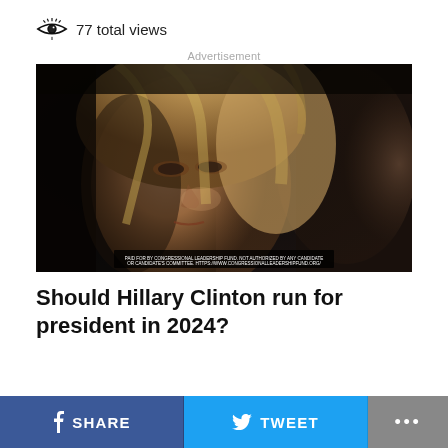👁 77 total views
Advertisement
[Figure (photo): Close-up photograph of Hillary Clinton with a serious expression, blonde hair, another figure blurred in background. A disclaimer box at the bottom reads: PAID FOR BY CONGRESSIONAL LEADERSHIP FUND. NOT AUTHORIZED BY ANY CANDIDATE OR CANDIDATE'S COMMITTEE. HTTPS://WWW.CONGRESSIONALLEADERSHIPFUND.ORG/]
Should Hillary Clinton run for president in 2024?
SHARE
TWEET
...